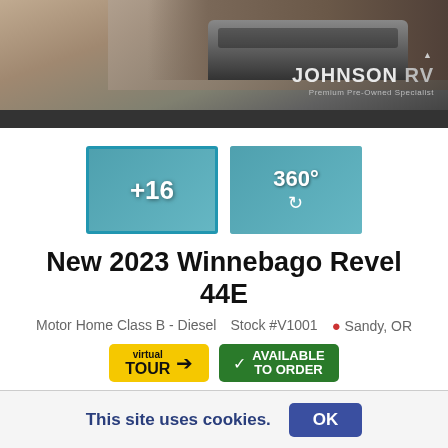[Figure (photo): Johnson RV dealership header banner with a dark pickup truck on desert terrain background and Johnson RV logo]
[Figure (photo): Two thumbnail images: first selected with blue border showing '+16' label (interior photo gallery), second showing '360°' virtual tour icon]
New 2023 Winnebago Revel 44E
Motor Home Class B - Diesel   Stock #V1001   Sandy, OR
[Figure (infographic): Two badges: yellow 'virtual TOUR' badge with arrow, and green 'AVAILABLE TO ORDER' badge with clipboard icon]
Order your Winnebago Revel today!
This site uses cookies.  OK